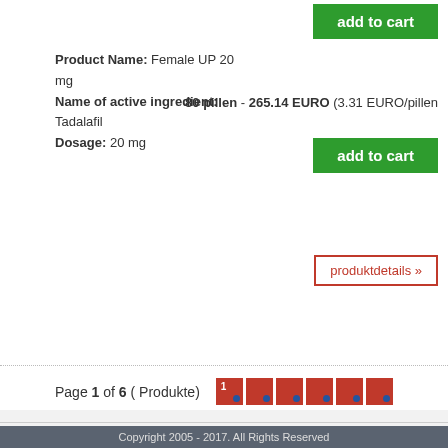Product Name: Female UP 20 mg
Name of active ingredient: Tadalafil
Dosage: 20 mg
80 pillen - 265.14 EURO (3.31 EURO/pillen
add to cart
add to cart
produktdetails »
Page 1 of 6 ( Produkte)
INFORMATIONS
CONTACT US
FOLLOW US
Copyright 2005 - 2017. All Rights Reserved